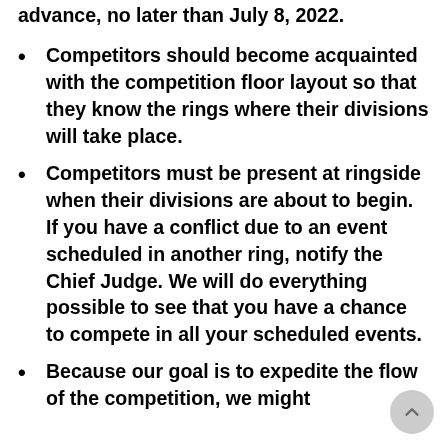advance, no later than July 8, 2022.
Competitors should become acquainted with the competition floor layout so that they know the rings where their divisions will take place.
Competitors must be present at ringside when their divisions are about to begin. If you have a conflict due to an event scheduled in another ring, notify the Chief Judge. We will do everything possible to see that you have a chance to compete in all your scheduled events.
Because our goal is to expedite the flow of the competition, we might